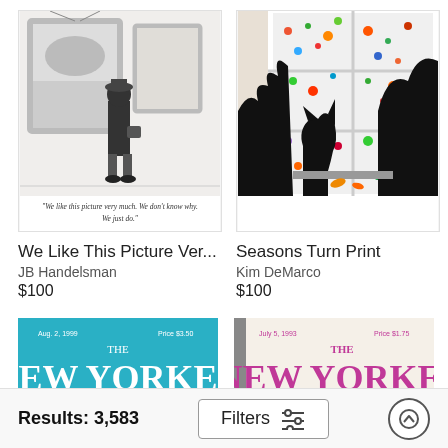[Figure (illustration): Black and white cartoon illustration: a woman in a coat and hat viewing paintings in an art gallery. Caption reads: 'We like this picture very much. We don't know why. We just do.']
[Figure (illustration): Colorful silhouette illustration showing cats and plants by a window with colorful confetti-like pattern outside. Signed by artist.]
We Like This Picture Ver...
JB Handelsman
$100
Seasons Turn Print
Kim DeMarco
$100
[Figure (photo): The New Yorker magazine cover - teal/blue background, Aug 2, 1999, Price $3.50]
[Figure (photo): The New Yorker magazine cover - cream/beige background, July 5, 1993, Price $1.75]
Results: 3,583
Filters